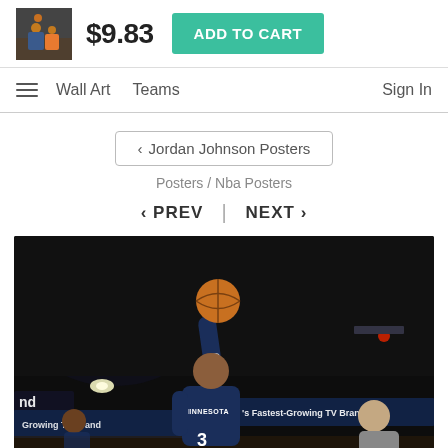[Figure (photo): Thumbnail of basketball action photo in cart bar]
$9.83
ADD TO CART
Wall Art   Teams   Sign In
< Jordan Johnson Posters
Posters / Nba Posters
< PREV  |  NEXT >
[Figure (photo): NBA basketball player wearing Minnesota #3 jersey shooting the ball during a game, dark arena background with advertising signage visible]